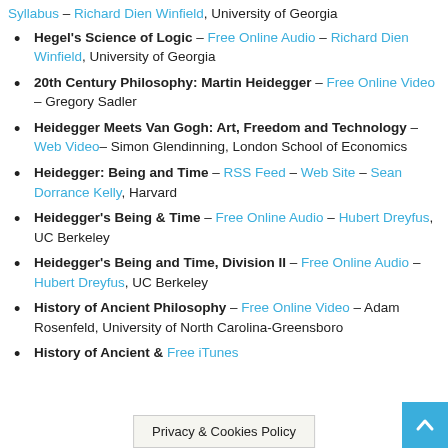Syllabus – Richard Dien Winfield, University of Georgia
Hegel's Science of Logic – Free Online Audio – Richard Dien Winfield, University of Georgia
20th Century Philosophy: Martin Heidegger – Free Online Video – Gregory Sadler
Heidegger Meets Van Gogh: Art, Freedom and Technology – Web Video – Simon Glendinning, London School of Economics
Heidegger: Being and Time – RSS Feed – Web Site – Sean Dorrance Kelly, Harvard
Heidegger's Being & Time – Free Online Audio – Hubert Dreyfus, UC Berkeley
Heidegger's Being and Time, Division II – Free Online Audio – Hubert Dreyfus, UC Berkeley
History of Ancient Philosophy – Free Online Video – Adam Rosenfeld, University of North Carolina-Greensboro
History of Ancient & … – Free iTunes Audio – Chris Surpro…